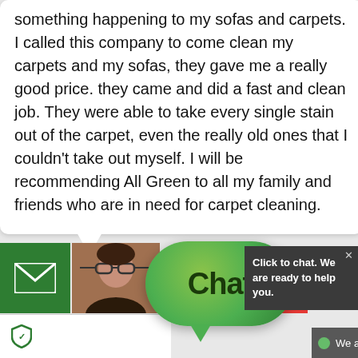something happening to my sofas and carpets. I called this company to come clean my carpets and my sofas, they gave me a really good price. they came and did a fast and clean job. They were able to take every single stain out of the carpet, even the really old ones that I couldn't take out myself. I will be recommending All Green to all my family and friends who are in need for carpet cleaning.
Yasmin S.
[Figure (photo): Profile photo of reviewer Yasmin S., a woman with sunglasses]
[Figure (other): Star rating: 4 red stars on Trustpilot-style display]
[Figure (other): Green chat bubble with text 'Chat' and call to action 'Click to chat. We are ready to help you.' with online status bar]